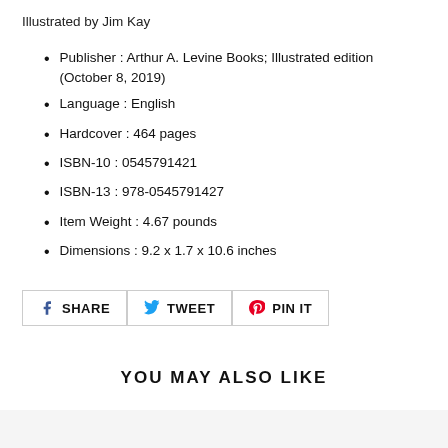Illustrated by Jim Kay
Publisher : Arthur A. Levine Books; Illustrated edition (October 8, 2019)
Language : English
Hardcover : 464 pages
ISBN-10 : 0545791421
ISBN-13 : 978-0545791427
Item Weight : 4.67 pounds
Dimensions : 9.2 x 1.7 x 10.6 inches
[Figure (other): Social sharing buttons: SHARE (Facebook), TWEET (Twitter), PIN IT (Pinterest)]
YOU MAY ALSO LIKE
[Figure (other): Bottom product images area (partially visible)]